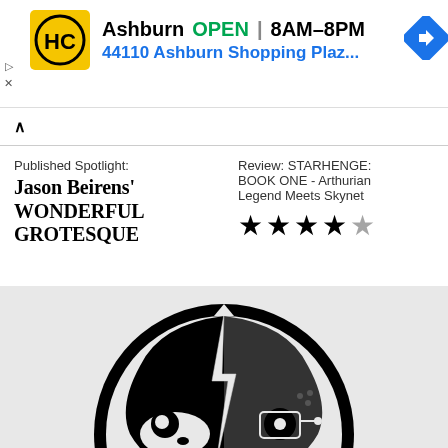[Figure (infographic): Advertisement banner for HC hardware store in Ashburn showing logo, OPEN status, hours 8AM-8PM, address 44110 Ashburn Shopping Plaz..., and navigation arrow icon]
Published Spotlight: Jason Beirens' WONDERFUL GROTESQUE
Review: STARHENGE: BOOK ONE - Arthurian Legend Meets Skynet ★★★★☆
[Figure (illustration): Black and white circular logo/illustration showing a split face - half human skull/face on the left and half robot/mechanical skull on the right, divided by a lightning bolt]